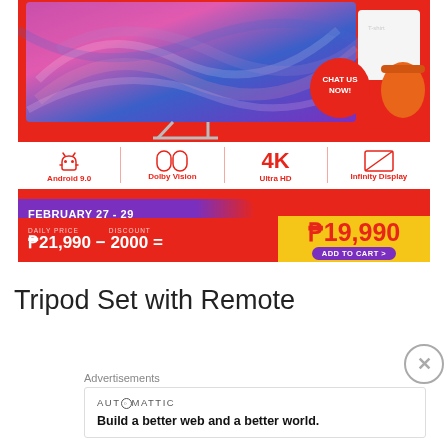[Figure (screenshot): E-commerce ad banner for a smart TV. Shows TV with colorful abstract display, t-shirt and backpack accessories, Android 9.0 / Dolby Vision / 4K Ultra HD / Infinity Display icons, a 'CHAT US NOW!' red circle badge, a purple 'FEBRUARY 27 - 29' date banner, and a price equation: ₱21,990 - 2000 = ₱19,990 with an 'ADD TO CART >' button on gold background.]
Tripod Set with Remote
Advertisements
AUTOMATTIC
Build a better web and a better world.